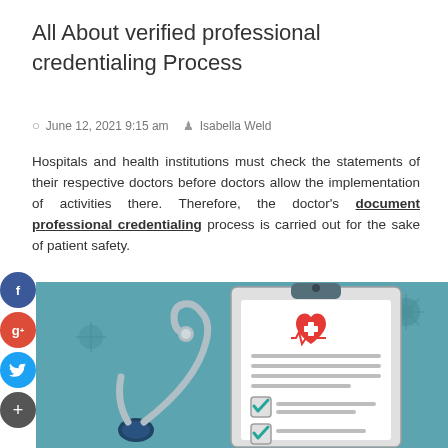All About verified professional credentialing Process
June 12, 2021 9:15 am  Isabella Weld
Hospitals and health institutions must check the statements of their respective doctors before doctors allow the implementation of activities there. Therefore, the doctor's document professional credentialing process is carried out for the sake of patient safety.
[Figure (illustration): Medical illustration showing a stethoscope and a clipboard with a health checklist, red heart with medical cross icon, and checkmarks on teal background]